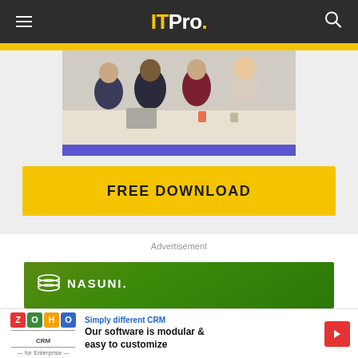ITPro.
[Figure (photo): Meeting photo showing group of people at a table with a purple banner below, partially cropped at top]
FREE DOWNLOAD
Advertisement
[Figure (logo): Nasuni logo on green gradient background advertisement]
[Figure (screenshot): Zoho CRM for Enterprise advertisement banner at bottom: Simply different CRM - Our software is modular & easy to customize]